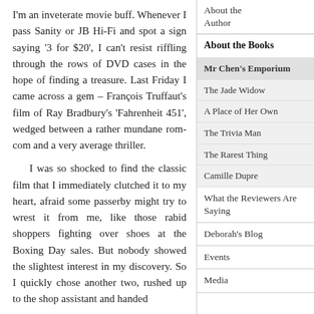I'm an inveterate movie buff. Whenever I pass Sanity or JB Hi-Fi and spot a sign saying '3 for $20', I can't resist riffling through the rows of DVD cases in the hope of finding a treasure. Last Friday I came across a gem – François Truffaut's film of Ray Bradbury's 'Fahrenheit 451', wedged between a rather mundane rom-com and a very average thriller.
I was so shocked to find the classic film that I immediately clutched it to my heart, afraid some passerby might try to wrest it from me, like those rabid shoppers fighting over shoes at the Boxing Day sales. But nobody showed the slightest interest in my discovery. So I quickly chose another two, rushed up to the shop assistant and handed over twenty dollars.
About the Author
About the Books
Mr Chen's Emporium
The Jade Widow
A Place of Her Own
The Trivia Man
The Rarest Thing
Camille Dupre
What the Reviewers Are Saying
Deborah's Blog
Events
Media